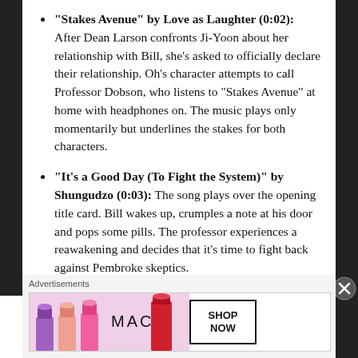“Stakes Avenue” by Love as Laughter (0:02): After Dean Larson confronts Ji-Yoon about her relationship with Bill, she’s asked to officially declare their relationship. Oh’s character attempts to call Professor Dobson, who listens to “Stakes Avenue” at home with headphones on. The music plays only momentarily but underlines the stakes for both characters.
“It’s a Good Day (To Fight the System)” by Shungudzo (0:03): The song plays over the opening title card. Bill wakes up, crumples a note at his door and pops some pills. The professor experiences a reawakening and decides that it’s time to fight back against Pembroke skeptics.
“Backseat Swinging” by Coolhand Jax (0:05): Bill
Advertisements
[Figure (other): MAC Cosmetics advertisement banner showing lipsticks and a SHOP NOW button]